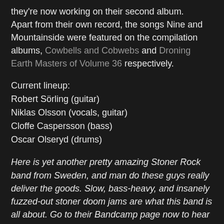they're now working on their second album. Apart from their own record, the songs Nine and Mountainside were featured on the compilation albums, Cowbells and Cobwebs and Droning Earth Masters of Volume 36 respectively.
Current lineup:
Robert Sörling (guitar)
Niklas Olsson (vocals, guitar)
Cloffe Caspersson (bass)
Oscar Olseryd (drums)
Here is yet another pretty amazing Stoner Rock band from Sweden, and man do these guys really deliver the goods. Slow, bass-heavy, and insanely fuzzed-out stoner doom jams are what this band is all about. Go to their Bandcamp page now to hear for yourself.
Review:
Read a fine review from Doommantia